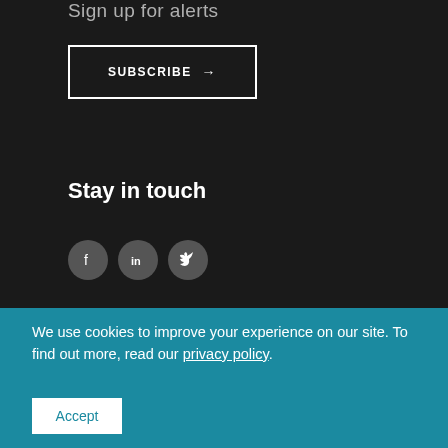Sign up for alerts
SUBSCRIBE →
Stay in touch
[Figure (other): Social media icons: Facebook, LinkedIn, Twitter]
We use cookies to improve your experience on our site. To find out more, read our privacy policy.
Accept